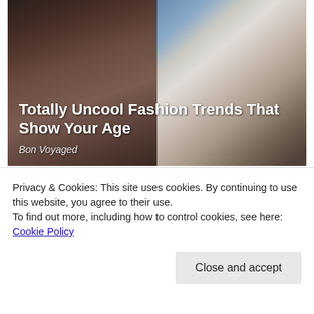[Figure (photo): Two women with glasses side by side. Left: woman with dark hair and rectangular glasses. Right: woman with white/silver hair and black glasses. Title overlay reads 'Totally Uncool Fashion Trends That Show Your Age' with source 'Bon Voyaged'.]
Totally Uncool Fashion Trends That Show Your Age
Bon Voyaged
[Figure (photo): Close-up of two people with blonde/strawberry hair against a blue sky background.]
Privacy & Cookies: This site uses cookies. By continuing to use this website, you agree to their use.
To find out more, including how to control cookies, see here: Cookie Policy
Close and accept